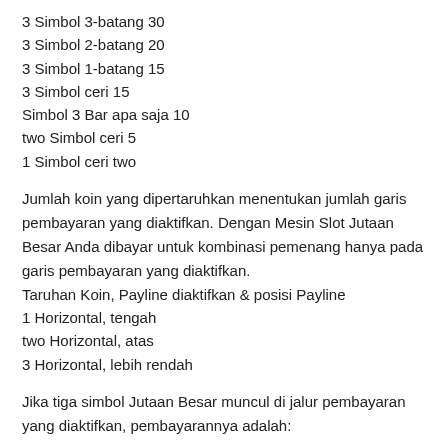3 Simbol 3-batang 30
3 Simbol 2-batang 20
3 Simbol 1-batang 15
3 Simbol ceri 15
Simbol 3 Bar apa saja 10
two Simbol ceri 5
1 Simbol ceri two
Jumlah koin yang dipertaruhkan menentukan jumlah garis pembayaran yang diaktifkan. Dengan Mesin Slot Jutaan Besar Anda dibayar untuk kombinasi pemenang hanya pada garis pembayaran yang diaktifkan.
Taruhan Koin, Payline diaktifkan & posisi Payline
1 Horizontal, tengah
two Horizontal, atas
3 Horizontal, lebih rendah
Jika tiga simbol Jutaan Besar muncul di jalur pembayaran yang diaktifkan, pembayarannya adalah: